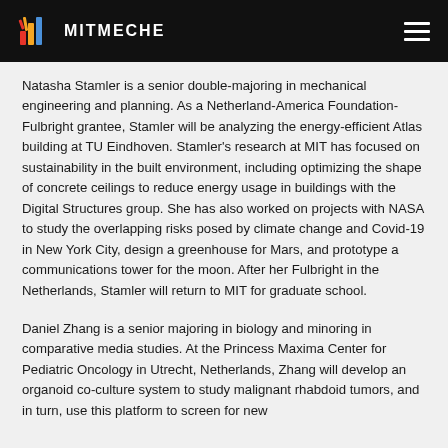MITMECHE
Natasha Stamler is a senior double-majoring in mechanical engineering and planning. As a Netherland-America Foundation-Fulbright grantee, Stamler will be analyzing the energy-efficient Atlas building at TU Eindhoven. Stamler's research at MIT has focused on sustainability in the built environment, including optimizing the shape of concrete ceilings to reduce energy usage in buildings with the Digital Structures group. She has also worked on projects with NASA to study the overlapping risks posed by climate change and Covid-19 in New York City, design a greenhouse for Mars, and prototype a communications tower for the moon. After her Fulbright in the Netherlands, Stamler will return to MIT for graduate school.
Daniel Zhang is a senior majoring in biology and minoring in comparative media studies. At the Princess Maxima Center for Pediatric Oncology in Utrecht, Netherlands, Zhang will develop an organoid co-culture system to study malignant rhabdoid tumors, and in turn, use this platform to screen for new